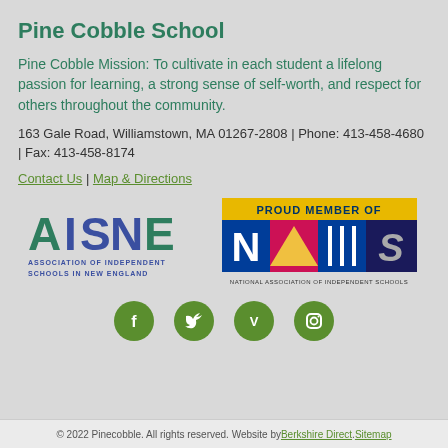Pine Cobble School
Pine Cobble Mission: To cultivate in each student a lifelong passion for learning, a strong sense of self-worth, and respect for others throughout the community.
163 Gale Road, Williamstown, MA 01267-2808 | Phone: 413-458-4680 | Fax: 413-458-8174
Contact Us | Map & Directions
[Figure (logo): AISNE - Association of Independent Schools in New England logo]
[Figure (logo): NAIS - National Association of Independent Schools - Proud Member Of logo]
[Figure (logo): Social media icons: Facebook, Twitter, Vimeo, Instagram]
© 2022 Pinecobble. All rights reserved. Website by Berkshire Direct. Sitemap